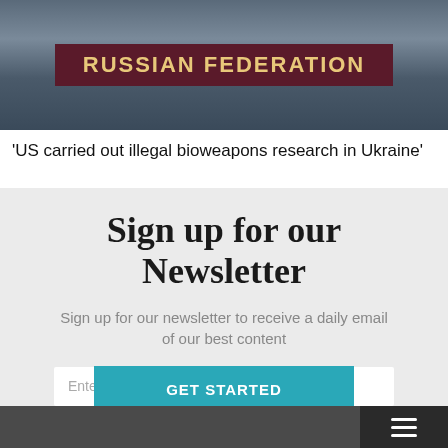[Figure (photo): Photo of a UN Security Council meeting showing a person behind a placard reading 'RUSSIAN FEDERATION']
'US carried out illegal bioweapons research in Ukraine'
Sign up for our Newsletter
Sign up for our newsletter to receive a daily email of our best content
Enter your e-mail address
GET STARTED